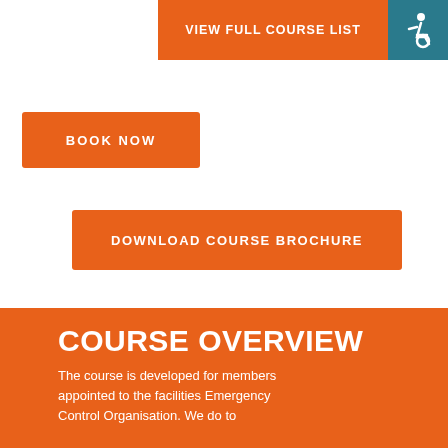VIEW FULL COURSE LIST
[Figure (illustration): Wheelchair accessibility icon in white on teal background]
BOOK NOW
DOWNLOAD COURSE BROCHURE
COURSE OVERVIEW
The course is developed for members appointed to the facilities Emergency Control Organisation. We do to